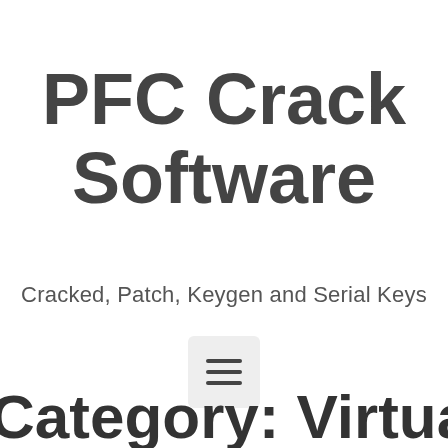PFC Crack Software
Cracked, Patch, Keygen and Serial Keys
[Figure (other): Hamburger menu button icon — three horizontal lines on a light gray rounded square background]
Category: Virtualization